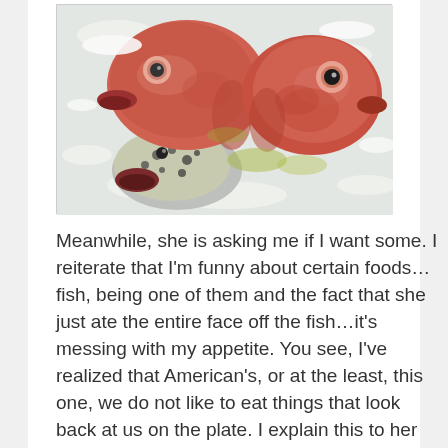[Figure (photo): Three fish heads on ice or a white surface — two red/pink fish heads and one darker spotted fish, viewed from above]
Meanwhile, she is asking me if I want some. I reiterate that I'm funny about certain foods…fish, being one of them and the fact that she just ate the entire face off the fish…it's messing with my appetite. You see, I've realized that American's, or at the least, this one, we do not like to eat things that look back at us on the plate. I explain this to her as well, then as she goes back into the banter of asking questions about dating American & men in New York City while devouring the